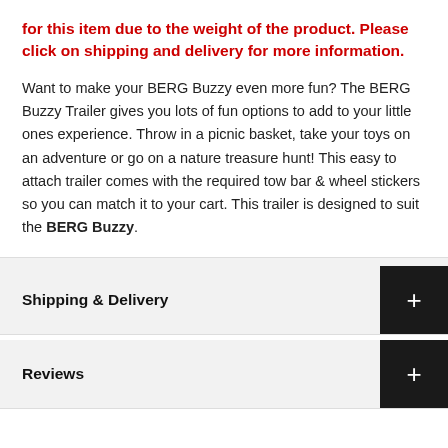for this item due to the weight of the product. Please click on shipping and delivery for more information.
Want to make your BERG Buzzy even more fun? The BERG Buzzy Trailer gives you lots of fun options to add to your little ones experience. Throw in a picnic basket, take your toys on an adventure or go on a nature treasure hunt! This easy to attach trailer comes with the required tow bar & wheel stickers so you can match it to your cart. This trailer is designed to suit the BERG Buzzy.
Shipping & Delivery
Reviews